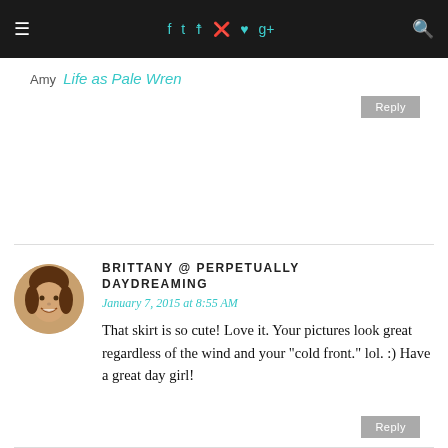Navigation bar with hamburger menu, social icons (f, Twitter, Instagram, Pinterest, heart, g+), and search icon
Amy  Life as Pale Wren
Reply
[Figure (photo): Circular avatar photo of a smiling young woman with brown hair]
BRITTANY @ PERPETUALLY DAYDREAMING
January 7, 2015 at 8:55 AM
That skirt is so cute! Love it. Your pictures look great regardless of the wind and your "cold front." lol. :) Have a great day girl!
Reply